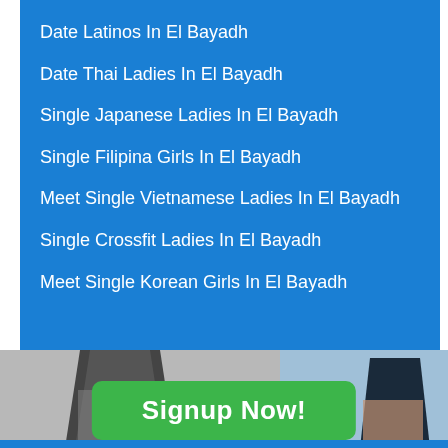Date Latinos In El Bayadh
Date Thai Ladies In El Bayadh
Single Japanese Ladies In El Bayadh
Single Filipina Girls In El Bayadh
Meet Single Vietnamese Ladies In El Bayadh
Single Crossfit Ladies In El Bayadh
Meet Single Korean Girls In El Bayadh
[Figure (photo): Two people standing outdoors near water, cropped to lower bodies. Couple on beach/waterside. Background is grey and light blue.]
Signup Now!